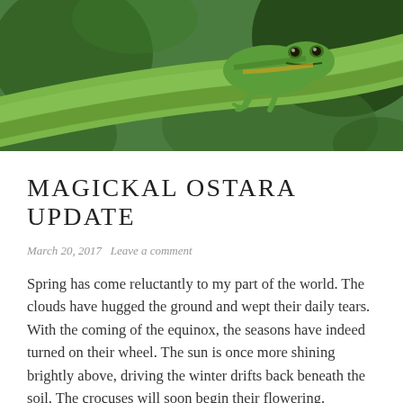[Figure (photo): Close-up photograph of a green tree frog sitting on a green plant stem, with blurred green foliage in the background.]
MAGICKAL OSTARA UPDATE
March 20, 2017   Leave a comment
Spring has come reluctantly to my part of the world. The clouds have hugged the ground and wept their daily tears. With the coming of the equinox, the seasons have indeed turned on their wheel. The sun is once more shining brightly above, driving the winter drifts back beneath the soil. The crocuses will soon begin their flowering.
With this changing of the seasons, I felt a shift. Spring is